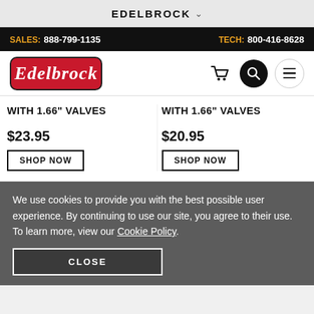EDELBROCK
SALES: 888-799-1135   TECH: 800-416-8628
[Figure (logo): Edelbrock red rounded rectangle logo with cursive white text]
WITH 1.66" VALVES
WITH 1.66" VALVES
$23.95
SHOP NOW
$20.95
SHOP NOW
We use cookies to provide you with the best possible user experience. By continuing to use our site, you agree to their use. To learn more, view our Cookie Policy.
CLOSE